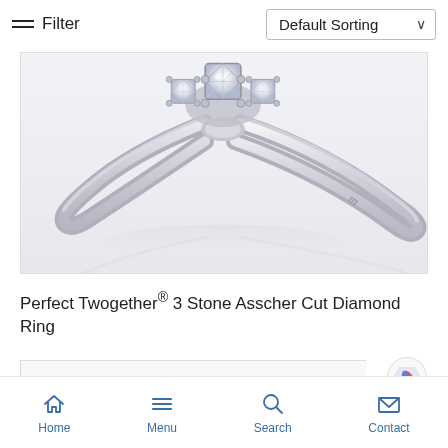Filter | Default Sorting
[Figure (photo): Close-up photo of a silver diamond ring (Perfect Twogether 3 Stone Asscher Cut Diamond Ring) with three stones on a tapered band, shown on a white background with subtle reflection below. Brand mark visible on the band.]
Perfect Twogether® 3 Stone Asscher Cut Diamond Ring
Home | Menu | Search | Contact